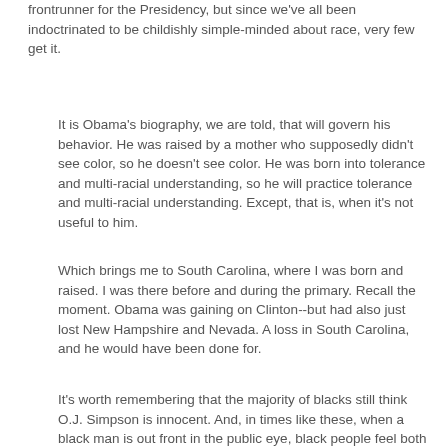frontrunner for the Presidency, but since we've all been indoctrinated to be childishly simple-minded about race, very few get it.
It is Obama's biography, we are told, that will govern his behavior. He was raised by a mother who supposedly didn't see color, so he doesn't see color. He was born into tolerance and multi-racial understanding, so he will practice tolerance and multi-racial understanding. Except, that is, when it's not useful to him.
Which brings me to South Carolina, where I was born and raised. I was there before and during the primary. Recall the moment. Obama was gaining on Clinton--but had also just lost New Hampshire and Nevada. A loss in South Carolina, and he would have been done for.
It's worth remembering that the majority of blacks still think O.J. Simpson is innocent. And, in times like these, when a black man is out front in the public eye, black people feel both proud and